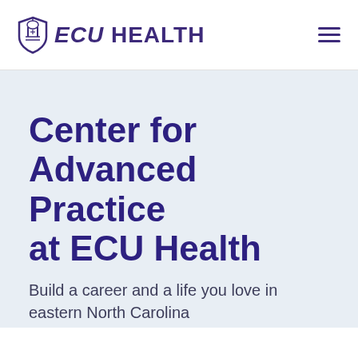ECU HEALTH
Center for Advanced Practice at ECU Health
Build a career and a life you love in eastern North Carolina